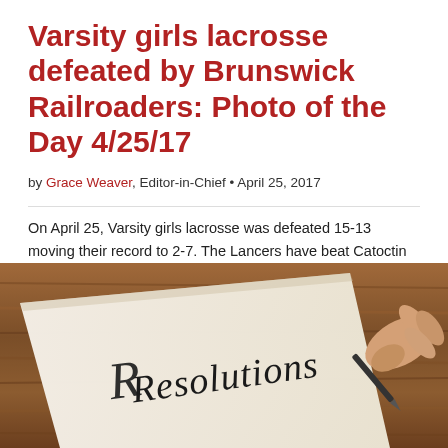Varsity girls lacrosse defeated by Brunswick Railroaders: Photo of the Day 4/25/17
by Grace Weaver, Editor-in-Chief • April 25, 2017
On April 25, Varsity girls lacrosse was defeated 15-13 moving their record to 2-7. The Lancers have beat Catoctin and Governor Thomas Johnson High Schools.  The Lady Lancers played a strong first half...
[Figure (photo): A close-up photo of a wooden table surface with a piece of paper showing the handwritten word 'Resolutions' and a hand holding a pen writing on it.]